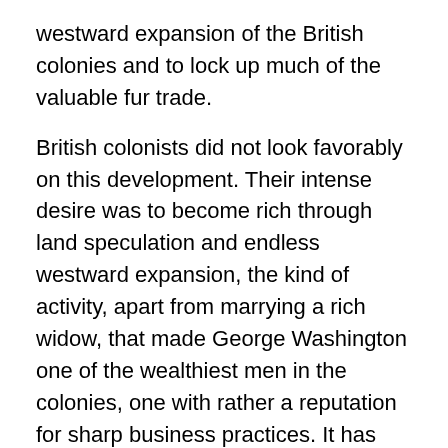westward expansion of the British colonies and to lock up much of the valuable fur trade.
British colonists did not look favorably on this development. Their intense desire was to become rich through land speculation and endless westward expansion, the kind of activity, apart from marrying a rich widow, that made George Washington one of the wealthiest men in the colonies, one with rather a reputation for sharp business practices. It has been said that the shooting of a French officer (the French flatly called it murder) by an ambitious young George Washington, serving in the Virginia militia, marked the opening of the Seven Years War, sometimes called the first world war.
Britain did win the war, but at considerable cost. The